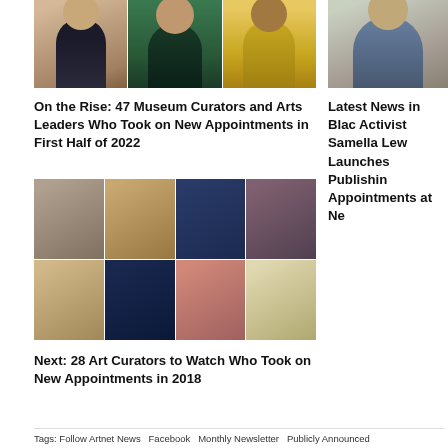[Figure (photo): Three headshot photos side by side: woman in dark shirt, woman in green top, person in yellow shirt]
On the Rise: 47 Museum Curators and Arts Leaders Who Took on New Appointments in First Half of 2022
[Figure (photo): Partially visible headshot photo of a person in patterned shirt on right side]
Latest News in Blac Activist Samella Lew Launches Publishin Appointments at Ne
[Figure (photo): 2x4 grid of headshot photos of diverse art curators and leaders]
Next: 28 Art Curators to Watch Who Took on New Appointments in 2018
Tags: Follow Artnet News Facebook Monthly Newsletter Publicly Announced